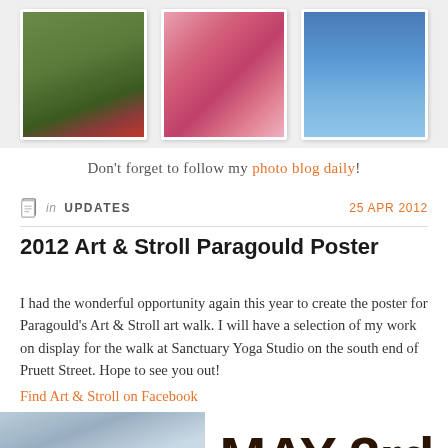[Figure (photo): Three Instagram-style photos in a horizontal strip: left shows a garden scene with a red flower and brick wall, center shows a pink magnolia flower close-up, right shows a blue sky with a white contrail/jet trail.]
Don't forget to follow my photo blog daily!
in UPDATES  25 APR 2012
2012 Art & Stroll Paragould Poster
I had the wonderful opportunity again this year to create the poster for Paragould's Art & Stroll art walk. I will have a selection of my work on display for the walk at Sanctuary Yoga Studio on the south end of Pruett Street. Hope to see you out!
Find Art & Stroll on Facebook
[Figure (photo): Bottom portion of a photo showing a post/pole on the left with a blue sign, and large bold text 'MAY 3rd' on the right side in dark brown/black.]